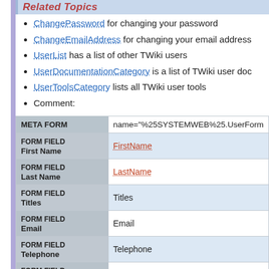Related Topics
ChangePassword for changing your password
ChangeEmailAddress for changing your email address
UserList has a list of other TWiki users
UserDocumentationCategory is a list of TWiki user documentation
UserToolsCategory lists all TWiki user tools
Comment:
| META FORM | name="%25SYSTEMWEB%25.UserForm" |
| --- | --- |
| FORM FIELD
First Name | FirstName |
| FORM FIELD
Last Name | LastName |
| FORM FIELD
Titles | Titles |
| FORM FIELD
Email | Email |
| FORM FIELD
Telephone | Telephone |
| FORM FIELD
Mobile | Mobile |
| FORM FIELD | SkypeID |